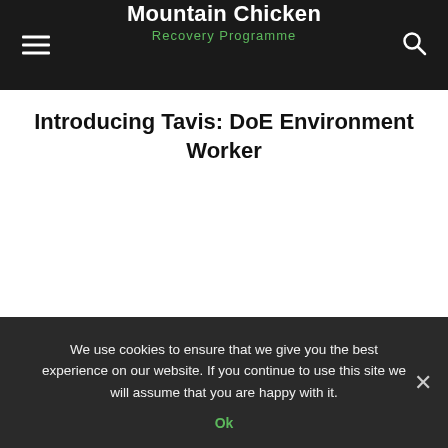Mountain Chicken Recovery Programme
Introducing Tavis: DoE Environment Worker
jluke – June 30, 2020  2
We use cookies to ensure that we give you the best experience on our website. If you continue to use this site we will assume that you are happy with it.
Ok